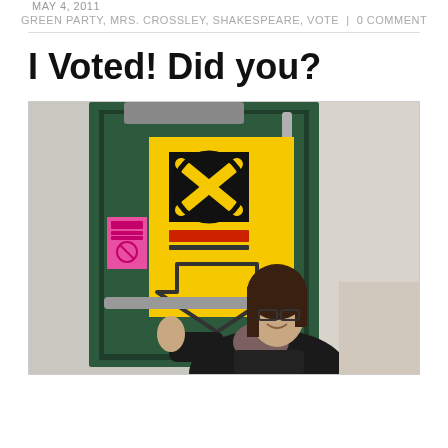MAY 4, 2011
GREEN PARTY, MRS. CROSSLEY, SHAKESPEARE, VOTE | 0 COMMENT
I Voted! Did you?
[Figure (photo): A young woman with glasses giving a thumbs-up in front of a green door that has a yellow election ballot sign with an X in a circle and a downward-pointing arrow. A pink notice is also visible on the door.]